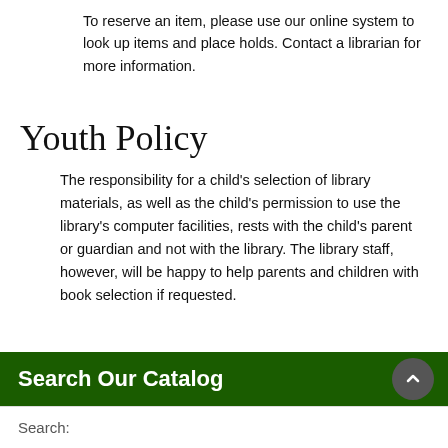To reserve an item, please use our online system to look up items and place holds. Contact a librarian for more information.
Youth Policy
The responsibility for a child's selection of library materials, as well as the child's permission to use the library's computer facilities, rests with the child's parent or guardian and not with the library. The library staff, however, will be happy to help parents and children with book selection if requested.
Search Our Catalog
Search: